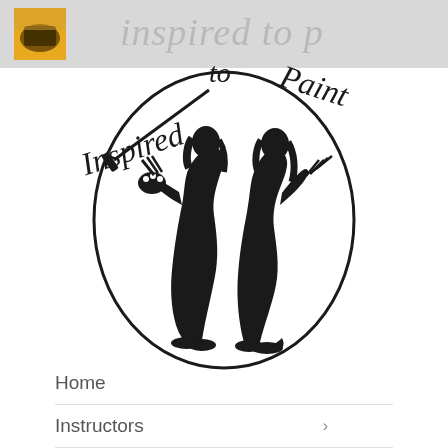Inspired to Paint
[Figure (logo): Inspired to Paint logo: two silhouetted women artists standing back-to-back inside a circle, with cursive text 'Inspired to Paint' around them and a paintbrush graphic]
Home
Instructors >
Membership Options